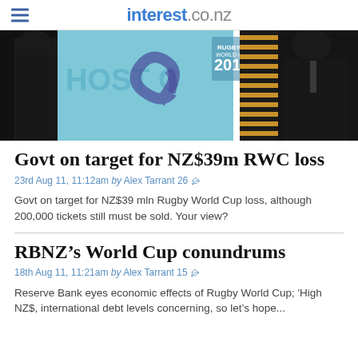interest.co.nz
[Figure (photo): Photo of people at a Rugby World Cup 2011 Host City banner/backdrop. Left figure in black jacket, right figure in dark suit, with teal/blue RWC 2011 banner in center and striped element on right.]
Govt on target for NZ$39m RWC loss
23rd Aug 11, 11:12am by Alex Tarrant 26 ⊞
Govt on target for NZ$39 mln Rugby World Cup loss, although 200,000 tickets still must be sold. Your view?
RBNZ’s World Cup conundrums
18th Aug 11, 11:21am by Alex Tarrant 15 ⊞
Reserve Bank eyes economic effects of Rugby World Cup; 'High NZ$, international debt levels concerning, so let's hope...